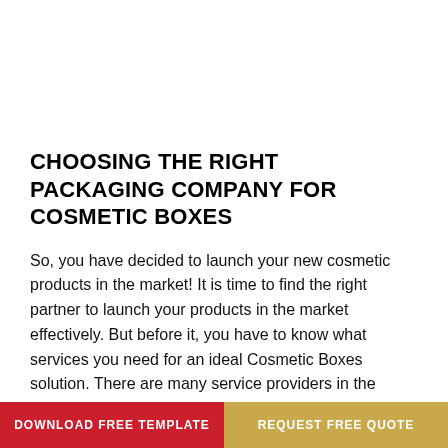CHOOSING THE RIGHT PACKAGING COMPANY FOR COSMETIC BOXES
So, you have decided to launch your new cosmetic products in the market! It is time to find the right partner to launch your products in the market effectively. But before it, you have to know what services you need for an ideal Cosmetic Boxes solution. There are many service providers in the market, and [...]
READ MORE
DOWNLOAD FREE TEMPLATE | REQUEST FREE QUOTE